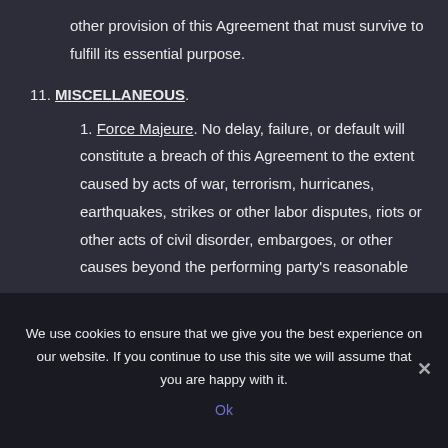other provision of this Agreement that must survive to fulfill its essential purpose.
11. MISCELLANEOUS.
Force Majeure. No delay, failure, or default will constitute a breach of this Agreement to the extent caused by acts of war, terrorism, hurricanes, earthquakes, strikes or other labor disputes, riots or other acts of civil disorder, embargoes, or other causes beyond the performing party's reasonable
We use cookies to ensure that we give you the best experience on our website. If you continue to use this site we will assume that you are happy with it.